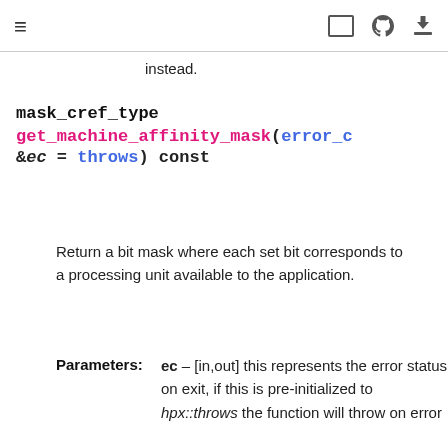≡  [icons: fullscreen, github, download]
instead.
mask_cref_type
get_machine_affinity_mask(error_c &ec = throws) const
Return a bit mask where each set bit corresponds to a processing unit available to the application.
Parameters: ec – [in,out] this represents the error status on exit, if this is pre-initialized to hpx::throws the function will throw on error